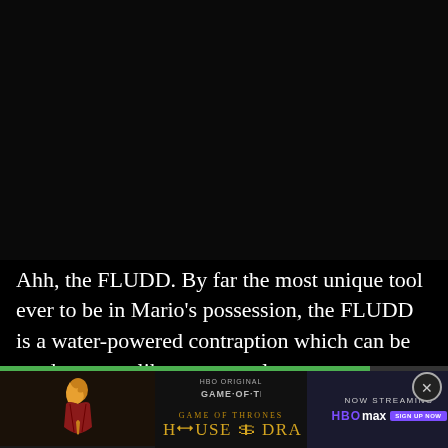[Figure (screenshot): Dark/black video player area occupying the top portion of the screen]
Ahh, the FLUDD. By far the most unique tool ever to be in Mario's possession, the FLUDD is a water-powered contraption which can be used to spray like a pump, clean up messes, hover through the air, dash or slide quickly across land and water, and rock... imm...
[Figure (screenshot): Advertisement banner for HBO Max show 'House of the Dragon' with progress bar, close button, show art with flame figure, HBO Original Game of Thrones branding, and NOW STREAMING HBOMAX button]